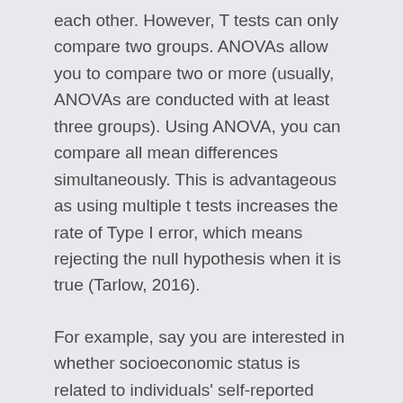each other. However, T tests can only compare two groups. ANOVAs allow you to compare two or more (usually, ANOVAs are conducted with at least three groups). Using ANOVA, you can compare all mean differences simultaneously. This is advantageous as using multiple t tests increases the rate of Type I error, which means rejecting the null hypothesis when it is true (Tarlow, 2016).
For example, say you are interested in whether socioeconomic status is related to individuals' self-reported